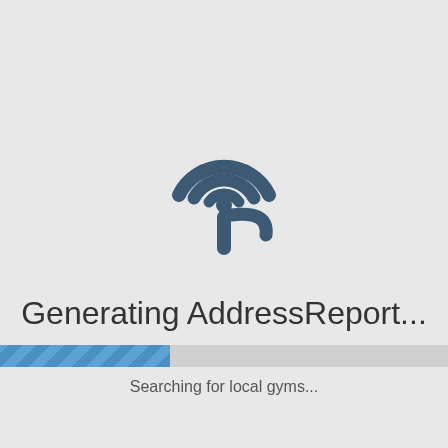[Figure (logo): QGIS or location-pin style logo icon in dark slate blue color, showing concentric arc segments above a pin/person shape]
Generating AddressReport...
Searching for local gyms...